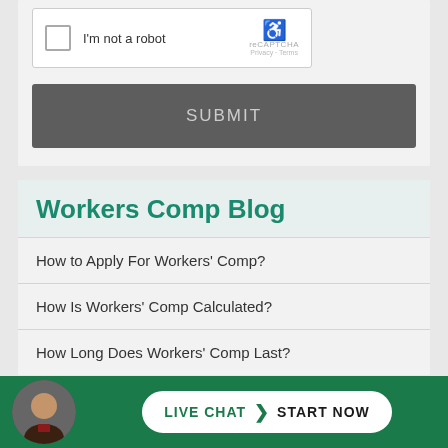[Figure (screenshot): reCAPTCHA widget with checkbox labeled 'I'm not a robot' and Google reCAPTCHA logo with Privacy and Terms links]
SUBMIT
Workers Comp Blog
How to Apply For Workers' Comp?
How Is Workers' Comp Calculated?
How Long Does Workers' Comp Last?
Follow Us
LIVE CHAT  ›  START NOW